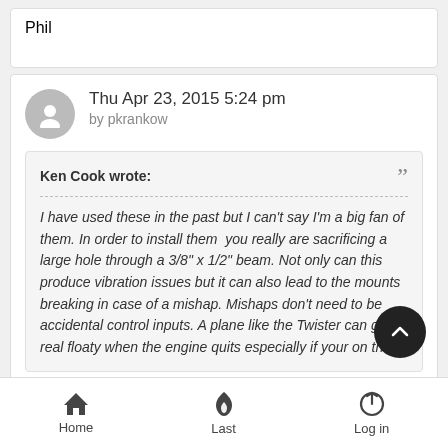Phil
Thu Apr 23, 2015 5:24 pm
by pkrankow
Ken Cook wrote:
I have used these in the past but I can't say I'm a big fan of them. In order to install them  you really are sacrificing a large hole through a 3/8" x 1/2" beam. Not only can this produce vibration issues but it can also lead to the mounts breaking in case of a mishap. Mishaps don't need to be accidental control inputs. A plane like the Twister can get real floaty when the engine quits especially if your on the
Home  Last  Log in